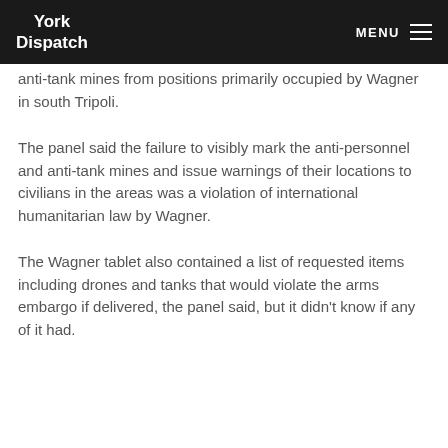York Dispatch | MENU
anti-tank mines from positions primarily occupied by Wagner in south Tripoli.
The panel said the failure to visibly mark the anti-personnel and anti-tank mines and issue warnings of their locations to civilians in the areas was a violation of international humanitarian law by Wagner.
The Wagner tablet also contained a list of requested items including drones and tanks that would violate the arms embargo if delivered, the panel said, but it didn't know if any of it had.